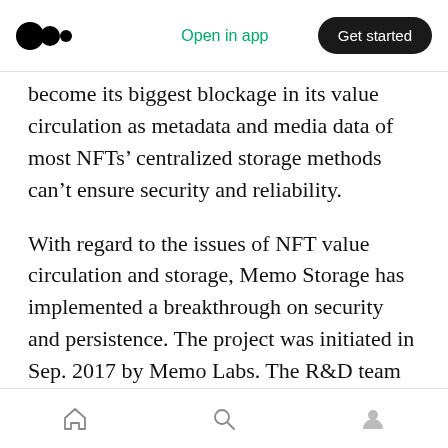Open in app | Get started
p … g become its biggest blockage in its value circulation as metadata and media data of most NFTs’ centralized storage methods can’t ensure security and reliability.
With regard to the issues of NFT value circulation and storage, Memo Storage has implemented a breakthrough on security and persistence. The project was initiated in Sep. 2017 by Memo Labs. The R&D team is composed by world-class experts, engineers and doctors who own many exclusive patents in the storage
Home | Search | Profile